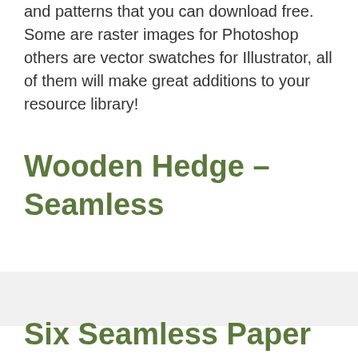and patterns that you can download free. Some are raster images for Photoshop others are vector swatches for Illustrator, all of them will make great additions to your resource library!
Wooden Hedge – Seamless
Six Seamless Paper